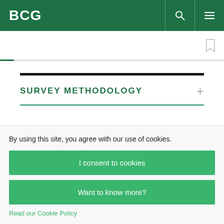BCG
SURVEY METHODOLOGY
By using this site, you agree with our use of cookies.
I consent to cookies
Want to know more?
Read our Cookie Policy